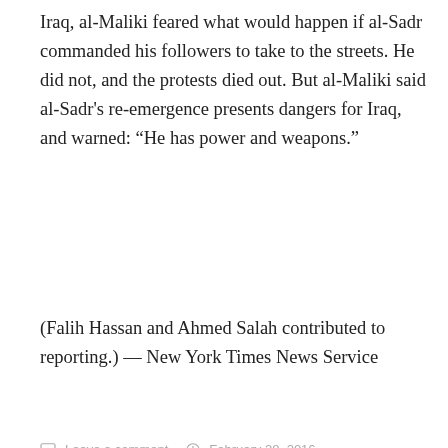Iraq, al-Maliki feared what would happen if al-Sadr commanded his followers to take to the streets. He did not, and the protests died out. But al-Maliki said al-Sadr's re-emergence presents dangers for Iraq, and warned: “He has power and weapons.”
(Falih Hassan and Ahmed Salah contributed to reporting.) — New York Times News Service
Leave a comment   February 28, 2016   4 Minutes
Babylon Vs Babylon the Great (Ezekiel 17)